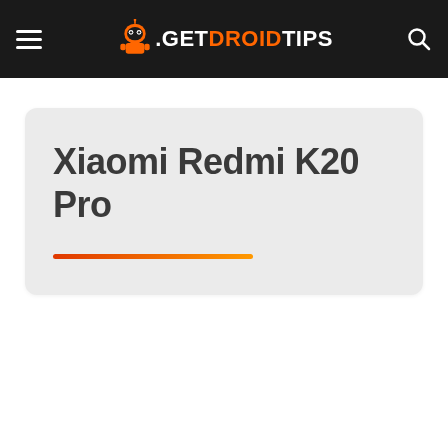GetDroidTips navigation header with hamburger menu, logo, and search icon
Xiaomi Redmi K20 Pro